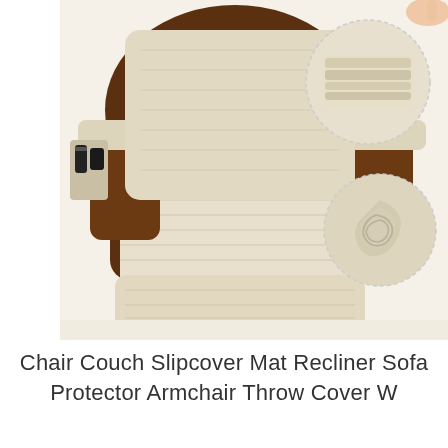[Figure (photo): A brown leather recliner armchair covered with a cream/beige fleece slipcover mat. The cover drapes over the seat and armrests. On the left armrest there is a side pocket holding a remote control. In the upper right corner two circular inset images show a folded cream blanket and a close-up of the cream sherpa/fleece fabric texture. A hand is visible at the top right corner.]
Chair Couch Slipcover Mat Recliner Sofa Protector Armchair Throw Cover W